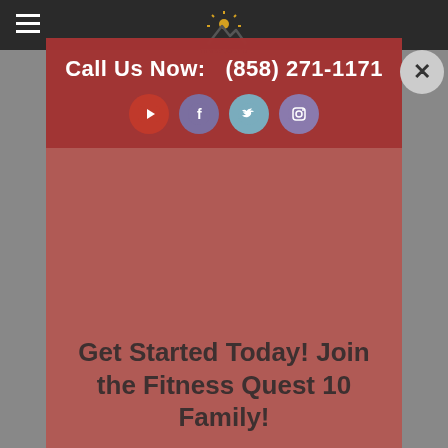[Figure (logo): Fitness Quest 10 logo with sun/mountain icon above the brand name]
Call Us Now:  (858) 271-1171
[Figure (illustration): Row of four social media icons: YouTube, Facebook, Twitter, Instagram]
Get Started Today! Join the Fitness Quest 10 Family!
Book your consultation now and try our 2-Week Trial or our Buy 6 Get 3 FREE training